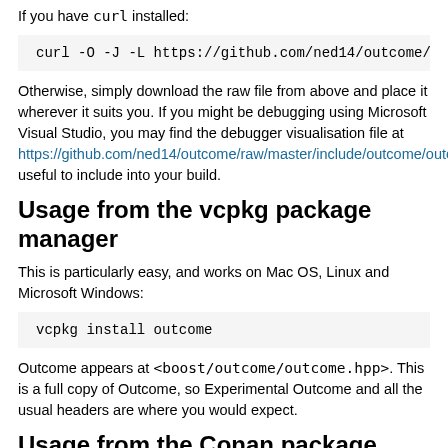If you have curl installed:
curl -O -J -L https://github.com/ned14/outcome/
Otherwise, simply download the raw file from above and place it wherever it suits you. If you might be debugging using Microsoft Visual Studio, you may find the debugger visualisation file at https://github.com/ned14/outcome/raw/master/include/outcome/outcome. useful to include into your build.
Usage from the vcpkg package manager
This is particularly easy, and works on Mac OS, Linux and Microsoft Windows:
vcpkg install outcome
Outcome appears at <boost/outcome/outcome.hpp>. This is a full copy of Outcome, so Experimental Outcome and all the usual headers are where you would expect.
Usage from the Conan package